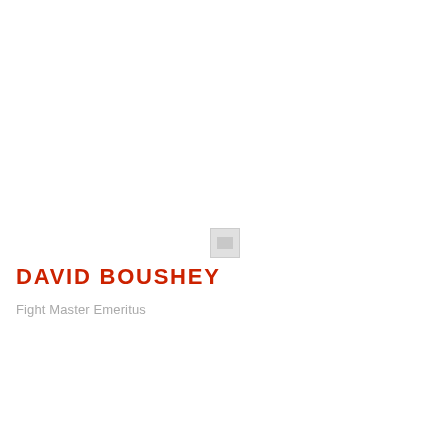[Figure (photo): Placeholder image thumbnail for David Boushey]
DAVID BOUSHEY
Fight Master Emeritus